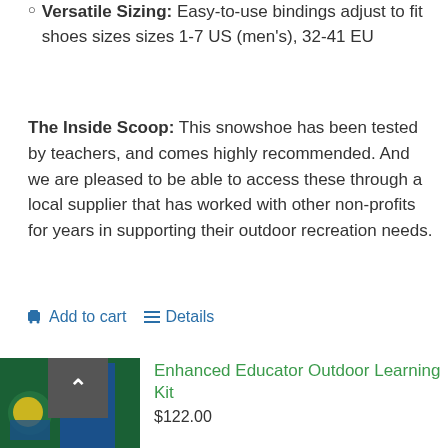Versatile Sizing: Easy-to-use bindings adjust to fit shoes sizes sizes 1-7 US (men's), 32-41 EU
The Inside Scoop: This snowshoe has been tested by teachers, and comes highly recommended. And we are pleased to be able to access these through a local supplier that has worked with other non-profits for years in supporting their outdoor recreation needs.
Add to cart   Details
[Figure (photo): Product image of Enhanced Educator Outdoor Learning Kit with a back-to-top button overlay]
Enhanced Educator Outdoor Learning Kit
$122.00